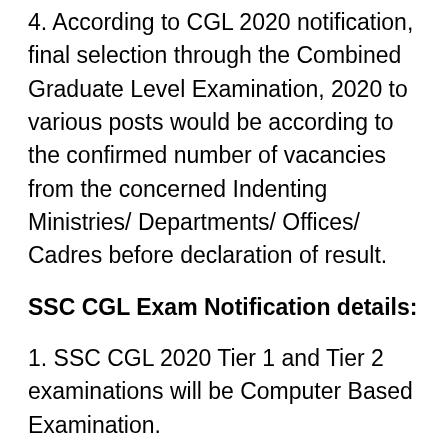4. According to CGL 2020 notification, final selection through the Combined Graduate Level Examination, 2020 to various posts would be according to the confirmed number of vacancies from the concerned Indenting Ministries/ Departments/ Offices/ Cadres before declaration of result.
SSC CGL Exam Notification details:
1. SSC CGL 2020 Tier 1 and Tier 2 examinations will be Computer Based Examination.